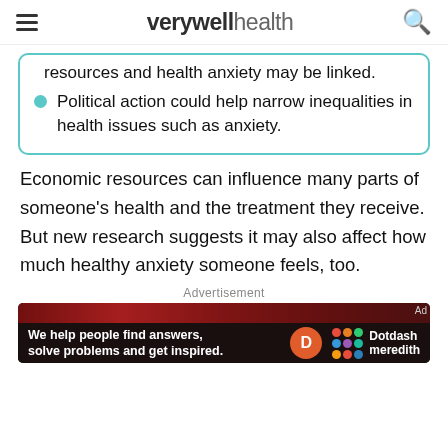verywell health
resources and health anxiety may be linked.
Political action could help narrow inequalities in health issues such as anxiety.
Economic resources can influence many parts of someone's health and the treatment they receive. But new research suggests it may also affect how much healthy anxiety someone feels, too.
Advertisement
[Figure (other): Dotdash Meredith advertisement banner: 'We help people find answers, solve problems and get inspired.' with Dotdash Meredith logo]